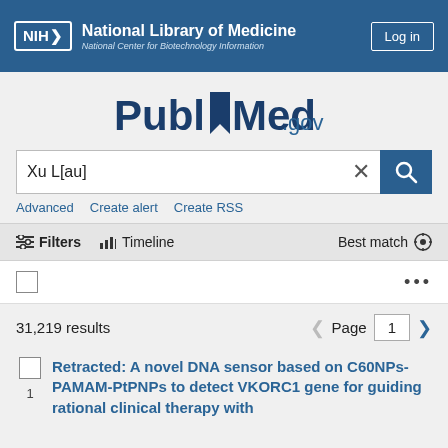NIH National Library of Medicine National Center for Biotechnology Information | Log in
[Figure (logo): PubMed.gov logo with bookmark icon]
Xu L[au]
Advanced   Create alert   Create RSS
Filters   Timeline   Best match
31,219 results   Page 1
Retracted: A novel DNA sensor based on C60NPs-PAMAM-PtPNPs to detect VKORC1 gene for guiding rational clinical therapy with